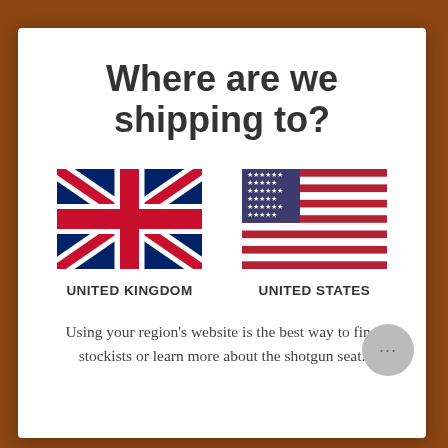Where are we shipping to?
[Figure (illustration): Union Jack flag of the United Kingdom]
UNITED KINGDOM
[Figure (illustration): Flag of the United States of America]
UNITED STATES
Using your region's website is the best way to find stockists or learn more about the shotgun seat.